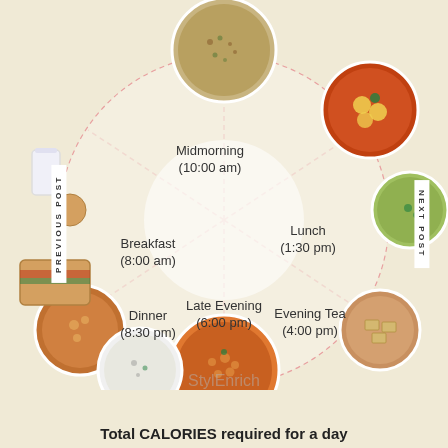[Figure (infographic): Circular meal timing wheel showing 5 meal times (Midmorning 10:00 am, Lunch 1:30 pm, Evening Tea 4:00 pm, Late Evening 6:00 pm, Dinner 8:30 pm, Breakfast 8:00 am) with food photos arranged around a central starburst pattern, surrounded by photos of Indian food dishes.]
PREVIOUS POST
NEXT POST
StylEnrich
Total CALORIES required for a day